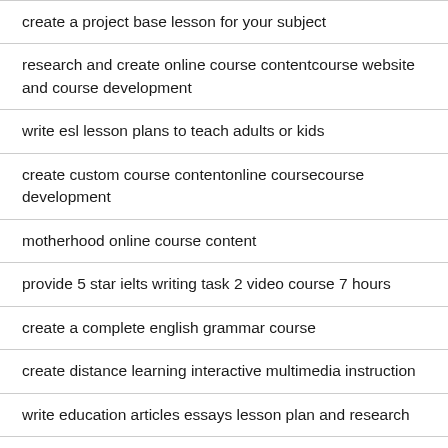create a project base lesson for your subject
research and create online course contentcourse website and course development
write esl lesson plans to teach adults or kids
create custom course contentonline coursecourse development
motherhood online course content
provide 5 star ielts writing task 2 video course 7 hours
create a complete english grammar course
create distance learning interactive multimedia instruction
write education articles essays lesson plan and research